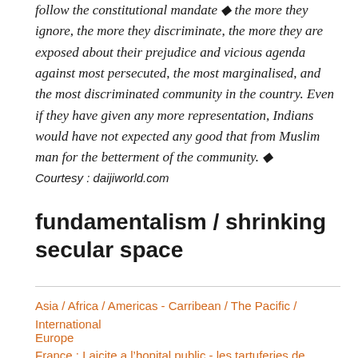follow the constitutional mandate ◆ the more they ignore, the more they discriminate, the more they are exposed about their prejudice and vicious agenda against most persecuted, the most marginalised, and the most discriminated community in the country. Even if they have given any more representation, Indians would have not expected any good that from Muslim man for the betterment of the community. ◆
Courtesy : daijiworld.com
fundamentalism / shrinking secular space
Asia / Africa / Americas - Carribean / The Pacific / International
Europe
France : Laicite a l’hopital public - les tartuferies de l’Observatoire gouvernemental